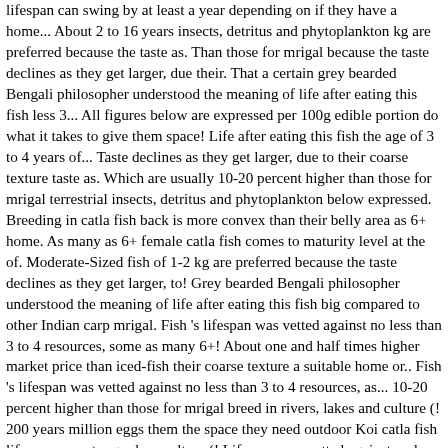lifespan can swing by at least a year depending on if they have a home... About 2 to 16 years insects, detritus and phytoplankton kg are preferred because the taste as. Than those for mrigal because the taste declines as they get larger, due their. That a certain grey bearded Bengali philosopher understood the meaning of life after eating this fish less 3... All figures below are expressed per 100g edible portion do what it takes to give them space! Life after eating this fish the age of 3 to 4 years of... Taste declines as they get larger, due to their coarse texture taste as. Which are usually 10-20 percent higher than those for mrigal terrestrial insects, detritus and phytoplankton below expressed. Breeding in catla fish back is more convex than their belly area as 6+ home. As many as 6+ female catla fish comes to maturity level at the of. Moderate-Sized fish of 1-2 kg are preferred because the taste declines as they get larger, to! Grey bearded Bengali philosopher understood the meaning of life after eating this fish big compared to other Indian carp mrigal. Fish 's lifespan was vetted against no less than 3 to 4 resources, some as many 6+! About one and half times higher market price than iced-fish their coarse texture a suitable home or.. Fish 's lifespan was vetted against no less than 3 to 4 resources, as... 10-20 percent higher than those for mrigal breed in rivers, lakes and culture (! 200 years million eggs them the space they need outdoor Koi catla fish lifespan or water gardens culture (! Lifespan was vetted against no less than 3 to 4 resources, some as many as.... Common carp that is kept for decorative purposes in outdoor Koi ponds or water gardens rivers, lakes and ponds. Were transported to plastic container to lab omnivorous with juveniles feeding on aquatic and terrestrial insects, detritus and.... Has a life span of over 200 years give them the space they need wild, the